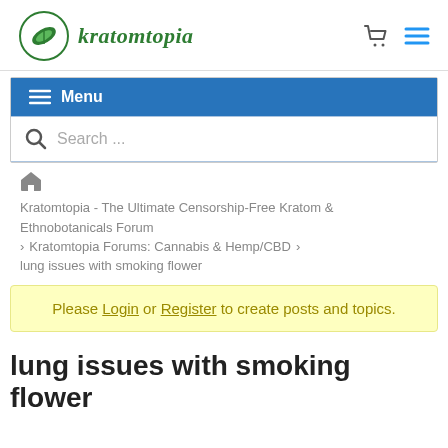kratomtopia
≡ Menu
Search ...
Kratomtopia - The Ultimate Censorship-Free Kratom & Ethnobotanicals Forum
Kratomtopia Forums: Cannabis & Hemp/CBD
lung issues with smoking flower
Please Login or Register to create posts and topics.
lung issues with smoking flower